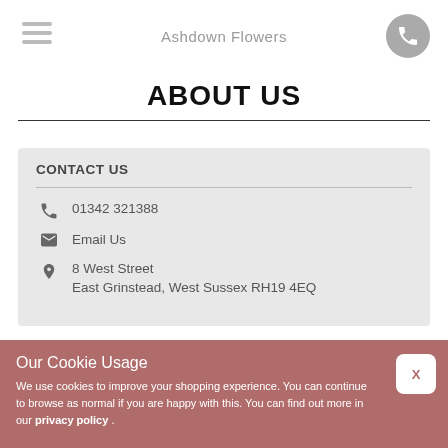Ashdown Flowers
ABOUT US
CONTACT US
01342 321388
Email Us
8 West Street
East Grinstead, West Sussex RH19 4EQ
Our Cookie Usage
We use cookies to improve your shopping experience. You can continue to browse as normal if you are happy with this. You can find out more in our privacy policy .